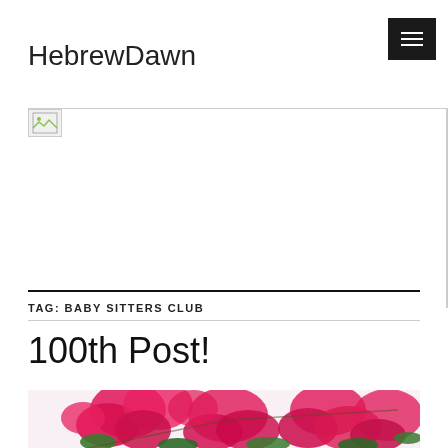HebrewDawn
[Figure (other): Broken/placeholder image icon in banner area]
TAG: BABY SITTERS CLUB
100th Post!
[Figure (photo): Photo of bright pink/magenta bougainvillea flowers with green leaves on white background, cropped at bottom of page]